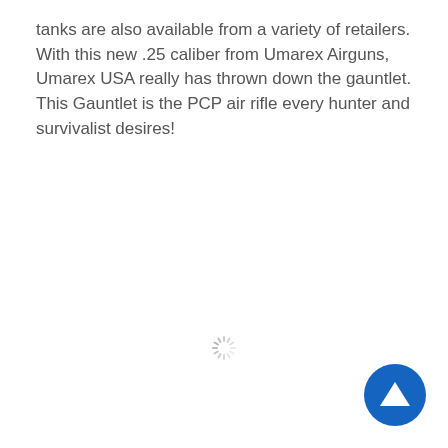tanks are also available from a variety of retailers. With this new .25 caliber from Umarex Airguns, Umarex USA really has thrown down the gauntlet. This Gauntlet is the PCP air rifle every hunter and survivalist desires!
[Figure (other): Loading spinner icon (circular dashed lines radiating from center, light gray)]
[Figure (other): Blue circular button with white upward-pointing triangle/arrow icon, positioned at bottom-right corner]